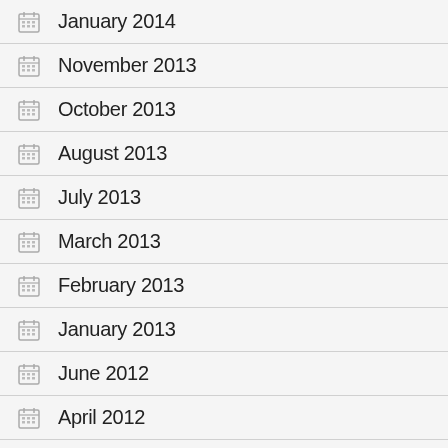January 2014
November 2013
October 2013
August 2013
July 2013
March 2013
February 2013
January 2013
June 2012
April 2012